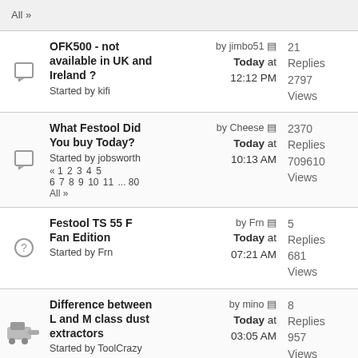All »
OFK500 - not available in UK and Ireland ? Started by kifi | by jimbo51 Today at 12:12 PM | 21 Replies 2797 Views
What Festool Did You buy Today? Started by jobsworth « 1 2 3 4 5 6 7 8 9 10 11 ... 80 All » | by Cheese Today at 10:13 AM | 2370 Replies 709610 Views
Festool TS 55 F Fan Edition Started by Frn | by Frn Today at 07:21 AM | 5 Replies 681 Views
Difference between L and M class dust extractors Started by ToolCrazy | by mino Today at 03:05 AM | 8 Replies 957 Views
MFK 700 for trimming edge banding: What are the correct | by afish | 10 Replies